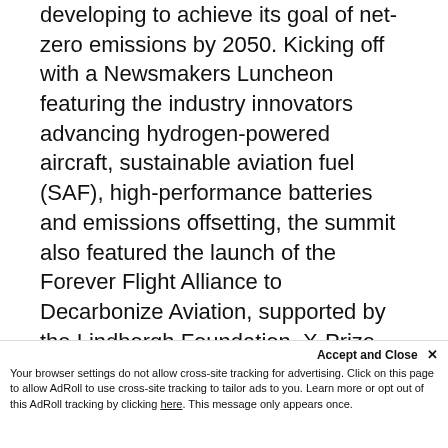developing to achieve its goal of net-zero emissions by 2050. Kicking off with a Newsmakers Luncheon featuring the industry innovators advancing hydrogen-powered aircraft, sustainable aviation fuel (SAF), high-performance batteries and emissions offsetting, the summit also featured the launch of the Forever Flight Alliance to Decarbonize Aviation, supported by the Lindbergh Foundation, X-Prize Foundation, NBAA and the Prince Albert II of Monaco Foundation.
The sustainability summit also featured
the launch S.T.A.R.S., the Stand...
Sustainability program, sponsored by
Accept and Close ✕ Your browser settings do not allow cross-site tracking for advertising. Click on this page to allow AdRoll to use cross-site tracking to tailor ads to you. Learn more or opt out of this AdRoll tracking by clicking here. This message only appears once.